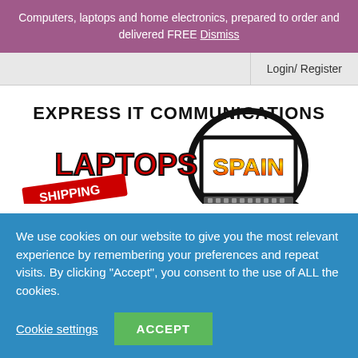Computers, laptops and home electronics, prepared to order and delivered FREE Dismiss
Login/ Register
[Figure (logo): Express IT Communications Laptops Spain logo with magnifying glass graphic]
We use cookies on our website to give you the most relevant experience by remembering your preferences and repeat visits. By clicking “Accept”, you consent to the use of ALL the cookies.
Cookie settings   ACCEPT